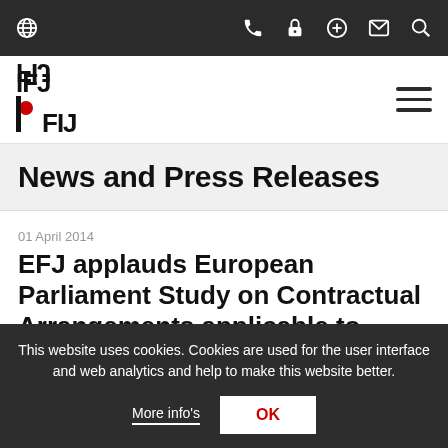Navigation bar with globe icon and phone, lock, plus, mail, search icons
[Figure (logo): IFJ FIJ logo in black and red with hamburger menu icon]
News and Press Releases
01 April 2014
EFJ applauds European Parliament Study on Contractual Arrangements applicable to creators
This website uses cookies. Cookies are used for the user interface and web analytics and help to make this website better.